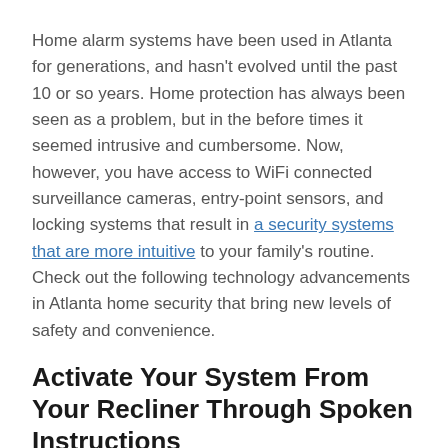Home alarm systems have been used in Atlanta for generations, and hasn't evolved until the past 10 or so years. Home protection has always been seen as a problem, but in the before times it seemed intrusive and cumbersome. Now, however, you have access to WiFi connected surveillance cameras, entry-point sensors, and locking systems that result in a security systems that are more intuitive to your family's routine. Check out the following technology advancements in Atlanta home security that bring new levels of safety and convenience.
Activate Your System From Your Recliner Through Spoken Instructions
You can manage your security with spoken words.